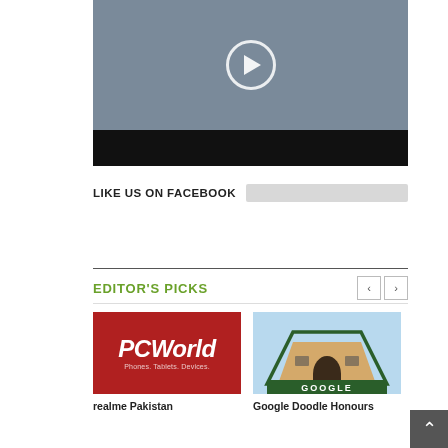[Figure (screenshot): Video thumbnail showing a man in a blue shirt with hands clasped, with a play button overlay. Bottom portion is black (video controls area).]
LIKE US ON FACEBOOK
EDITOR'S PICKS
[Figure (logo): PCWorld logo — white italic text 'PCWorld' on red background, subtitle 'Phones. Tablets. Devices.']
realme Pakistan
[Figure (logo): Google Doodle image — a house/building shaped logo with Google text banner at the bottom, dark green border.]
Google Doodle Honours